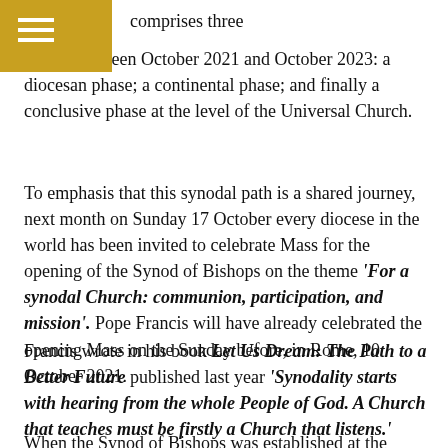comprises three phases between October 2021 and October 2023: a diocesan phase; a continental phase; and finally a conclusive phase at the level of the Universal Church.
To emphasis that this synodal path is a shared journey, next month on Sunday 17 October every diocese in the world has been invited to celebrate Mass for the opening of the Synod of Bishops on the theme 'For a synodal Church: communion, participation, and mission'. Pope Francis will have already celebrated the opening Mass on the Sunday before, in Rome, 10 October 2021.
Francis wrote in his book Let Us Dream: The Path to a Better Future published last year 'Synodality starts with hearing from the whole People of God. A Church that teaches must be firstly a Church that listens.'
When the Synod of Bishops was established at the Second